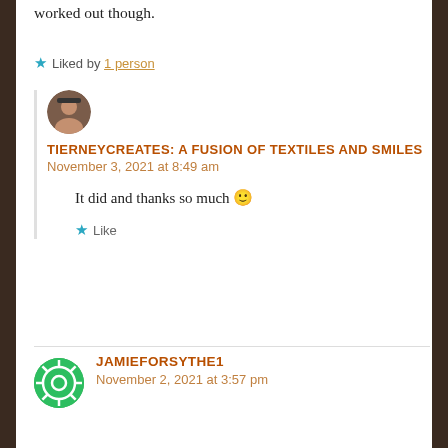worked out though.
★ Liked by 1 person
TIERNEYCREATES: A FUSION OF TEXTILES AND SMILES
November 3, 2021 at 8:49 am
It did and thanks so much 🙂
★ Like
JAMIEFORSYTHE1
November 2, 2021 at 3:57 pm